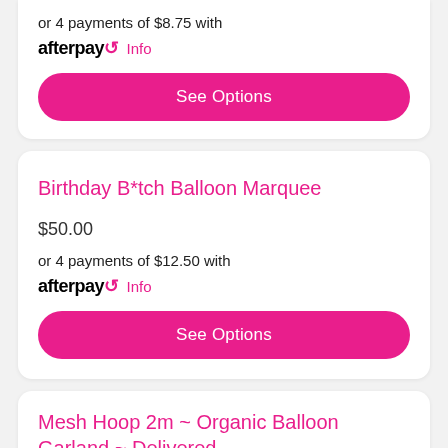or 4 payments of $8.75 with afterpay Info
See Options
Birthday B*tch Balloon Marquee
$50.00
or 4 payments of $12.50 with afterpay Info
See Options
Mesh Hoop 2m ~ Organic Balloon Garland ~ Delivered